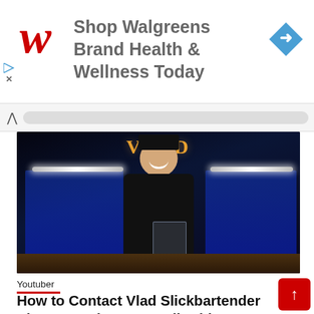[Figure (other): Walgreens advertisement banner with red W logo, text 'Shop Walgreens Brand Health & Wellness Today', and a blue direction arrow icon on the right]
[Figure (photo): Man in black clothing and black hat smiling and pointing, standing behind a bar with blue-lit bottle shelves. A glass is on the counter. 'VLAD' sign visible in background.]
Youtuber
How to Contact Vlad Slickbartender Phone Number, Fanmail Address, Email Id, Whatsapp, Mailing Address